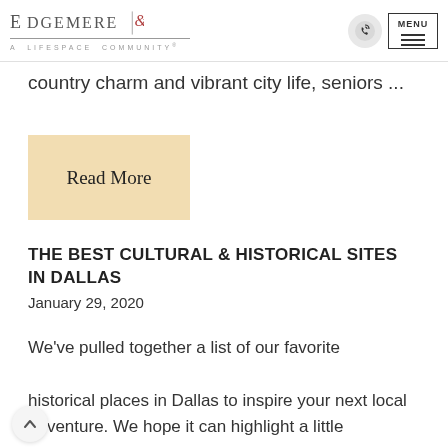EDGEMERE | A LIFESPACE COMMUNITY®
country charm and vibrant city life, seniors ...
Read More
THE BEST CULTURAL & HISTORICAL SITES IN DALLAS
January 29, 2020
We've pulled together a list of our favorite historical places in Dallas to inspire your next local adventure. We hope it can highlight a little